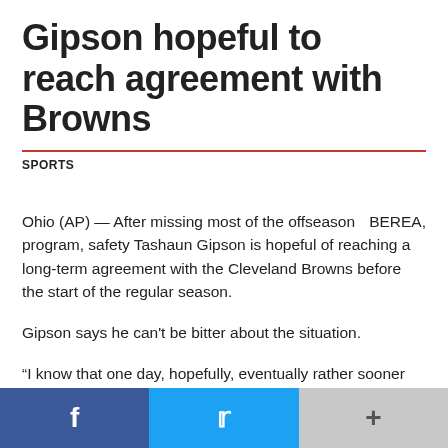Gipson hopeful to reach agreement with Browns
SPORTS
BEREA, Ohio (AP) — After missing most of the offseason program, safety Tashaun Gipson is hopeful of reaching a long-term agreement with the Cleveland Browns before the start of the regular season.
Gipson says he can't be bitter about the situation.
“I know that one day, hopefully, eventually rather sooner than later we can get something worked out, and this will be